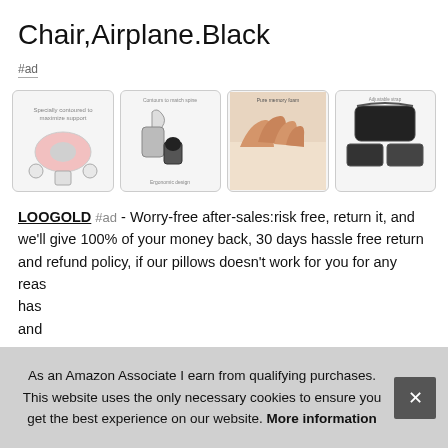Chair,Airplane.Black
#ad
[Figure (photo): Four product images of a lumbar back support pillow/cushion: (1) diagram showing ergonomic support features, (2) illustration of person using cushion in car seat, (3) close-up photo of hands pressing on memory foam pillow, (4) photo of black cushion with carrying strap and detail shots.]
LOOGOLD #ad - Worry-free after-sales:risk free, return it, and we'll give 100% of your money back, 30 days hassle free return and refund policy, if our pillows doesn't work for you for any reas has and on.
As an Amazon Associate I earn from qualifying purchases. This website uses the only necessary cookies to ensure you get the best experience on our website. More information